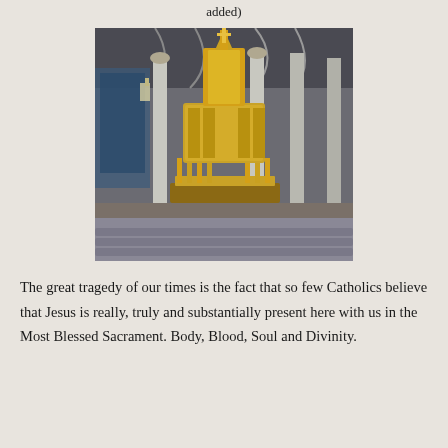added)
[Figure (photo): A golden tabernacle in a Catholic church interior, with ornate Gothic arches and white columns. Church pews visible in the foreground.]
The great tragedy of our times is the fact that so few Catholics believe that Jesus is really, truly and substantially present here with us in the Most Blessed Sacrament. Body, Blood, Soul and Divinity.